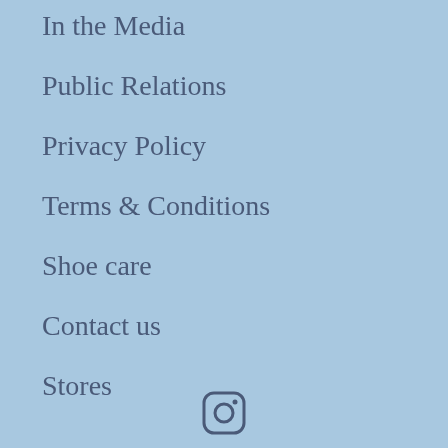In the Media
Public Relations
Privacy Policy
Terms & Conditions
Shoe care
Contact us
Stores
[Figure (illustration): Instagram social media icon (camera outline)]